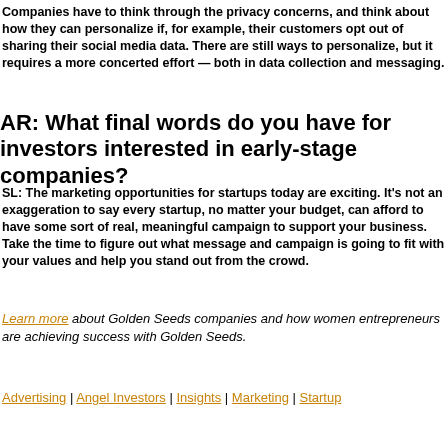Companies have to think through the privacy concerns, and think about how they can personalize if, for example, their customers opt out of sharing their social media data. There are still ways to personalize, but it requires a more concerted effort — both in data collection and messaging.
AR: What final words do you have for investors interested in early-stage companies?
SL: The marketing opportunities for startups today are exciting. It's not an exaggeration to say every startup, no matter your budget, can afford to have some sort of real, meaningful campaign to support your business. Take the time to figure out what message and campaign is going to fit with your values and help you stand out from the crowd.
Learn more about Golden Seeds companies and how women entrepreneurs are achieving success with Golden Seeds.
Advertising | Angel Investors | Insights | Marketing | Startup